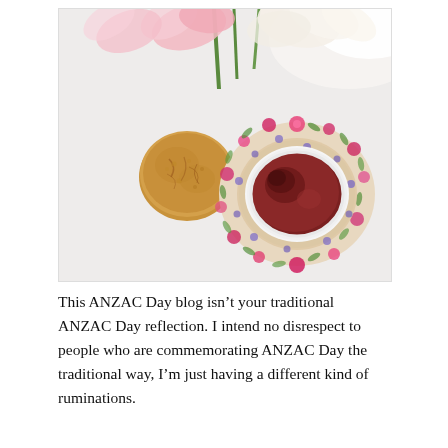[Figure (photo): Overhead flat-lay photo on a white surface showing: pink and white tulips in the upper background, a golden-brown ANZAC biscuit (cookie) in the center-left, and a floral-patterned teacup and saucer with dark red tea in the center-right.]
This ANZAC Day blog isn't your traditional ANZAC Day reflection. I intend no disrespect to people who are commemorating ANZAC Day the traditional way, I'm just having a different kind of ruminations.